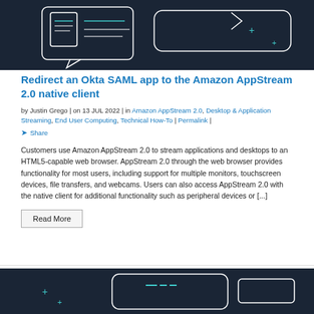[Figure (illustration): Dark navy background with white outlined chat bubble/document UI illustration with teal decorative plus signs]
Redirect an Okta SAML app to the Amazon AppStream 2.0 native client
by Justin Grego | on 13 JUL 2022 | in Amazon AppStream 2.0, Desktop & Application Streaming, End User Computing, Technical How-To | Permalink | Share
Customers use Amazon AppStream 2.0 to stream applications and desktops to an HTML5-capable web browser. AppStream 2.0 through the web browser provides functionality for most users, including support for multiple monitors, touchscreen devices, file transfers, and webcams. Users can also access AppStream 2.0 with the native client for additional functionality such as peripheral devices or [...]
Read More
[Figure (illustration): Dark navy background with white outlined mobile/tablet device UI illustration with teal decorative elements and plus signs]